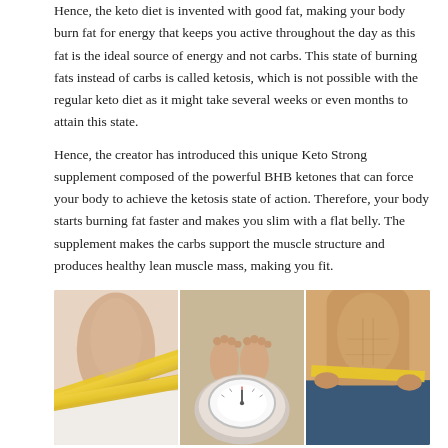Hence, the keto diet is invented with good fat, making your body burn fat for energy that keeps you active throughout the day as this fat is the ideal source of energy and not carbs. This state of burning fats instead of carbs is called ketosis, which is not possible with the regular keto diet as it might take several weeks or even months to attain this state.
Hence, the creator has introduced this unique Keto Strong supplement composed of the powerful BHB ketones that can force your body to achieve the ketosis state of action. Therefore, your body starts burning fat faster and makes you slim with a flat belly. The supplement makes the carbs support the muscle structure and produces healthy lean muscle mass, making you fit.
[Figure (photo): Three-panel collage of fitness/weight loss images: left panel shows a woman's waist with a yellow measuring tape wrapped around it; center panel shows feet standing on a bathroom scale; right panel shows a man's torso with a yellow measuring tape around the waist.]